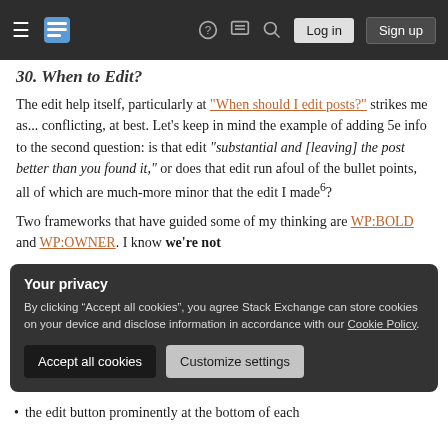Navigation bar with hamburger menu, logo, icons, Log in and Sign up buttons
30. When to Edit?
The edit help itself, particularly at "When should I edit posts?" strikes me as... conflicting, at best. Let's keep in mind the example of adding 5e info to the second question: is that edit "substantial and [leaving] the post better than you found it," or does that edit run afoul of the bullet points, all of which are much-more minor that the edit I made⁶?
Two frameworks that have guided some of my thinking are WP:BOLD and WP:OWNER. I know we're not
Your privacy
By clicking "Accept all cookies", you agree Stack Exchange can store cookies on your device and disclose information in accordance with our Cookie Policy.
Accept all cookies   Customize settings
the edit button prominently at the bottom of each